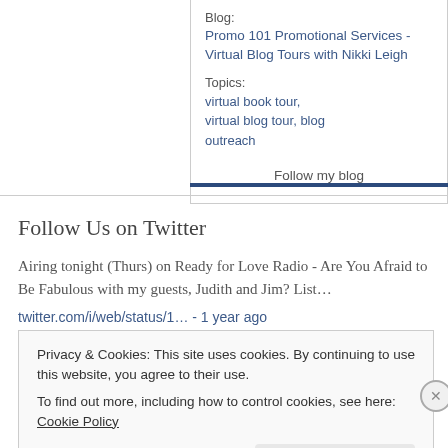Blog:
Promo 101 Promotional Services - Virtual Blog Tours with Nikki Leigh
Topics:
virtual book tour, virtual blog tour, blog outreach
Follow my blog
Follow Us on Twitter
Airing tonight (Thurs) on Ready for Love Radio - Are You Afraid to Be Fabulous with my guests, Judith and Jim? List…
twitter.com/i/web/status/1… - 1 year ago
Privacy & Cookies: This site uses cookies. By continuing to use this website, you agree to their use.
To find out more, including how to control cookies, see here: Cookie Policy
Close and accept